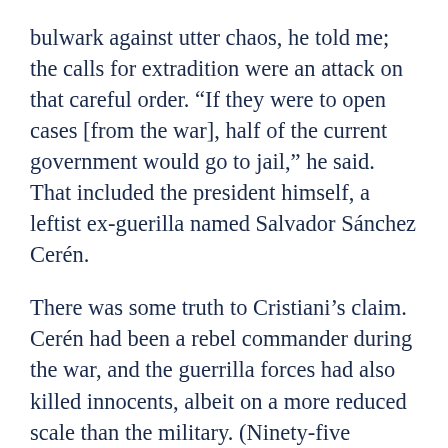bulwark against utter chaos, he told me; the calls for extradition were an attack on that careful order. “If they were to open cases [from the war], half of the current government would go to jail,” he said. That included the president himself, a leftist ex-guerilla named Salvador Sánchez Cerén.
There was some truth to Cristiani’s claim. Cerén had been a rebel commander during the war, and the guerrilla forces had also killed innocents, albeit on a more reduced scale than the military. (Ninety-five percent of the crimes enumerated by the U.N. after the war were attributed to the military, the remaining five